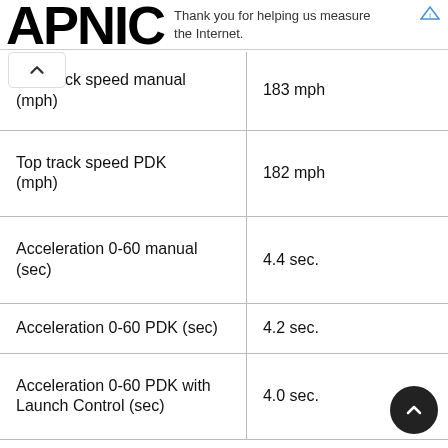APNIC — Thank you for helping us measure the Internet.
| Specification | Value |
| --- | --- |
| Top track speed manual (mph) | 183 mph |
| Top track speed PDK (mph) | 182 mph |
| Acceleration 0-60 manual (sec) | 4.4 sec. |
| Acceleration 0-60 PDK (sec) | 4.2 sec. |
| Acceleration 0-60 PDK with Launch Control (sec) | 4.0 sec. |